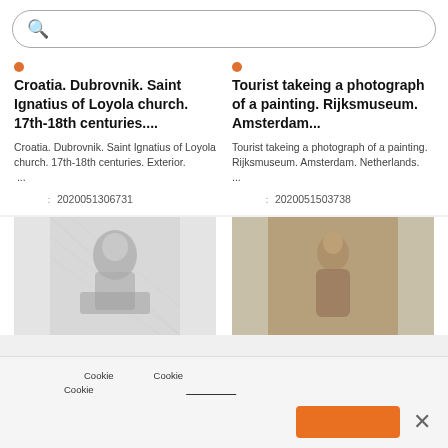[Figure (screenshot): Search bar with magnifying glass icon and CJK placeholder text]
Croatia. Dubrovnik. Saint Ignatius of Loyola church. 17th-18th centuries....
Tourist takeing a photograph of a painting. Rijksmuseum. Amsterdam...
Croatia. Dubrovnik. Saint Ignatius of Loyola church. 17th-18th centuries. Exterior.[CJK characters] ...
Tourist takeing a photograph of a painting. Rijksmuseum. Amsterdam. Netherlands.[CJK characters]...
[CJK label]: 2020051306731
[CJK label]: 2020051503738
[Figure (illustration): Black and white engraving of a man seated outdoors]
[Figure (photo): Sepia photograph of a woman in traditional dress]
[CJK cookie notice text] Cookie [CJK] Cookie [CJK] Cookie [CJK underlined]
[CJK button: accept cookies]
×